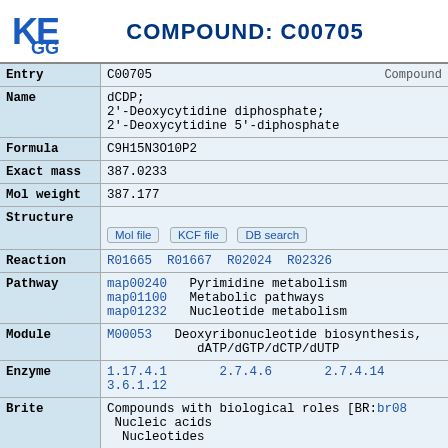[Figure (logo): KEGG logo - stylized letters KE GG in blue]
COMPOUND: C00705
| Field | Value |
| --- | --- |
| Entry | C00705    Compound |
| Name | dCDP;
2'-Deoxycytidine diphosphate;
2'-Deoxycytidine 5'-diphosphate |
| Formula | C9H15N3O10P2 |
| Exact mass | 387.0233 |
| Mol weight | 387.177 |
| Structure | [Mol file] [KCF file] [DB search] |
| Reaction | R01665 R01667 R02024 R02326 |
| Pathway | map00240   Pyrimidine metabolism
map01100   Metabolic pathways
map01232   Nucleotide metabolism |
| Module | M00053   Deoxyribonucleotide biosynthesis, dATP/dGTP/dCTP/dUTP |
| Enzyme | 1.17.4.1   2.7.4.6   2.7.4.14
3.6.1.12 |
| Brite | Compounds with biological roles [BR:br08001]
  Nucleic acids
    Nucleotides |